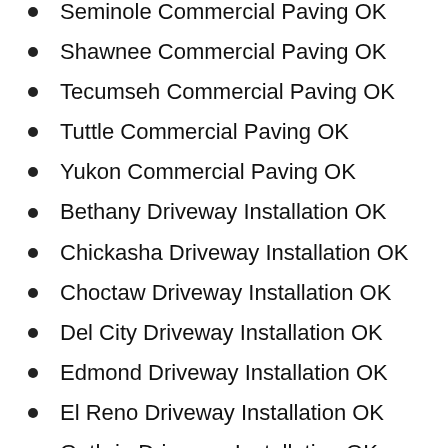Seminole Commercial Paving OK
Shawnee Commercial Paving OK
Tecumseh Commercial Paving OK
Tuttle Commercial Paving OK
Yukon Commercial Paving OK
Bethany Driveway Installation OK
Chickasha Driveway Installation OK
Choctaw Driveway Installation OK
Del City Driveway Installation OK
Edmond Driveway Installation OK
El Reno Driveway Installation OK
Guthrie Driveway Installation OK
Harrah Driveway Installation OK
Midwest City Driveway Installation OK